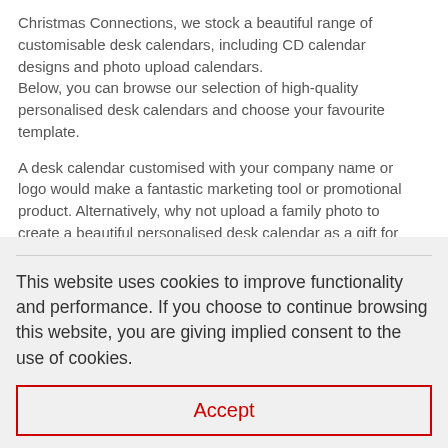Christmas Connections, we stock a beautiful range of customisable desk calendars, including CD calendar designs and photo upload calendars. Below, you can browse our selection of high-quality personalised desk calendars and choose your favourite template.
A desk calendar customised with your company name or logo would make a fantastic marketing tool or promotional product. Alternatively, why not upload a family photo to create a beautiful personalised desk calendar as a gift for a loved one?
Personalised Desk Calendar FAQs: What kind of Desk Calendars are there?
This website uses cookies to improve functionality and performance. If you choose to continue browsing this website, you are giving implied consent to the use of cookies.
Accept